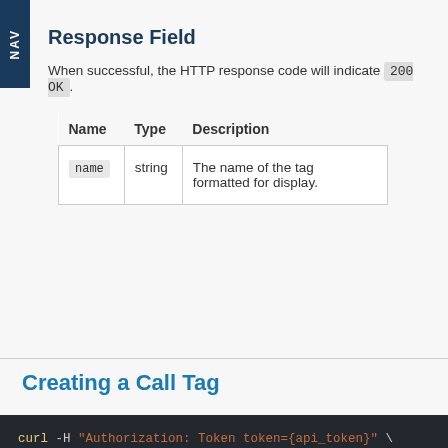Response Field
When successful, the HTTP response code will indicate 200 OK.
| Name | Type | Description |
| --- | --- | --- |
| name | string | The name of the tag formatted for display. |
Creating a Call Tag
curl -H "Authorization: Token token={api_token}" \
     -X POST \
     -H "Content-Type: application/json" \